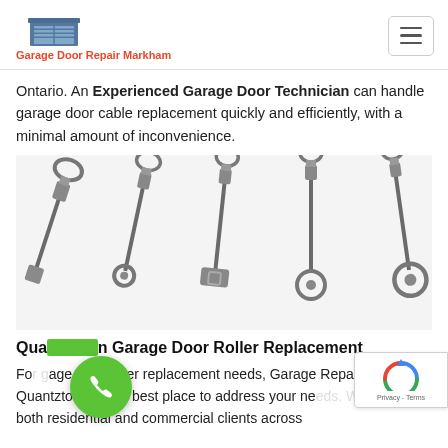Garage Door Repair Markham
Ontario. An Experienced Garage Door Technician can handle garage door cable replacement quickly and efficiently, with a minimal amount of inconvenience.
[Figure (photo): Five garage door cables with different end fittings (loop, eye bolt, flat plate with hole, ring) laid out on white background]
Quantztown Garage Door Roller Replacement
For garage door roller replacement needs, Garage Repair Quantztown is the best place to address your needs. We serve both residential and commercial clients across